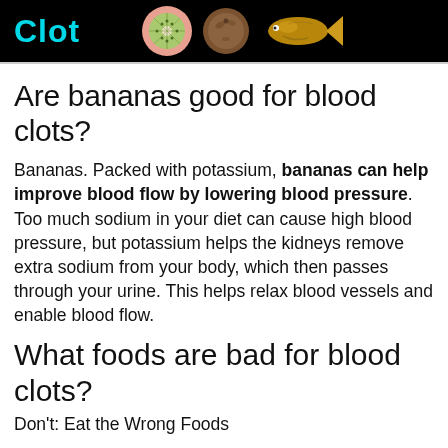Clot
Are bananas good for blood clots?
Bananas. Packed with potassium, bananas can help improve blood flow by lowering blood pressure. Too much sodium in your diet can cause high blood pressure, but potassium helps the kidneys remove extra sodium from your body, which then passes through your urine. This helps relax blood vessels and enable blood flow.
What foods are bad for blood clots?
Don't: Eat the Wrong Foods